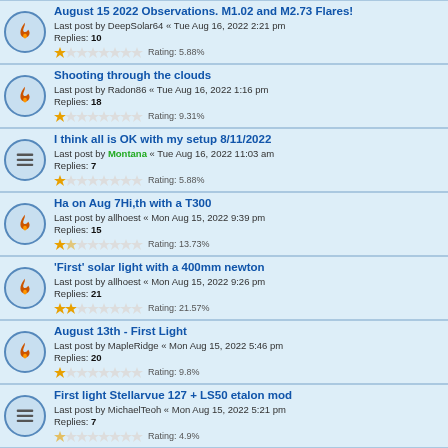August 15 2022 Observations. M1.02 and M2.73 Flares!
Last post by DeepSolar64 « Tue Aug 16, 2022 2:21 pm
Replies: 10
Rating: 5.88%
Shooting through the clouds
Last post by Radon86 « Tue Aug 16, 2022 1:16 pm
Replies: 18
Rating: 9.31%
I think all is OK with my setup 8/11/2022
Last post by Montana « Tue Aug 16, 2022 11:03 am
Replies: 7
Rating: 5.88%
Ha on Aug 7Hi,th with a T300
Last post by allhoest « Mon Aug 15, 2022 9:39 pm
Replies: 15
Rating: 13.73%
'First' solar light with a 400mm newton
Last post by allhoest « Mon Aug 15, 2022 9:26 pm
Replies: 21
Rating: 21.57%
August 13th - First Light
Last post by MapleRidge « Mon Aug 15, 2022 5:46 pm
Replies: 20
Rating: 9.8%
First light Stellarvue 127 + LS50 etalon mod
Last post by MichaelTeoh « Mon Aug 15, 2022 5:21 pm
Replies: 7
Rating: 4.9%